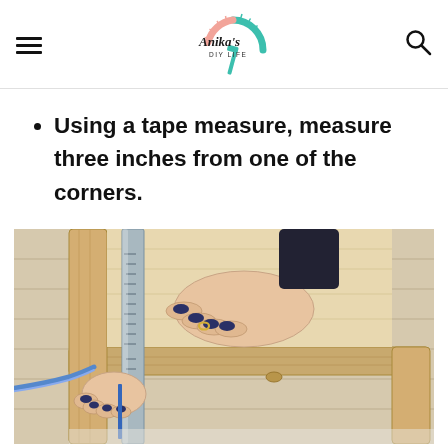Anika's DIY Life
Using a tape measure, measure three inches from one of the corners.
[Figure (photo): Hands holding a metal ruler/tape measure against the corner of a wooden frame on a light wood surface. One hand holds a pencil, making a mark three inches from the corner.]